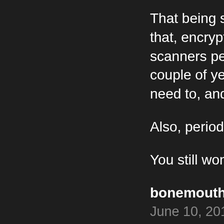That being said there a that, encrypt all of you scanners periodically, couple of years, and o need to, and only afte
Also, periodically run a
You still won't be com
bonemouth says:
June 10, 2016 at 10:01
Steve, I can assure you for years now and I do 1) Don't use Internet E to call it 2) Don't click on obvio trash on some sharing 3) Run a virus scan per